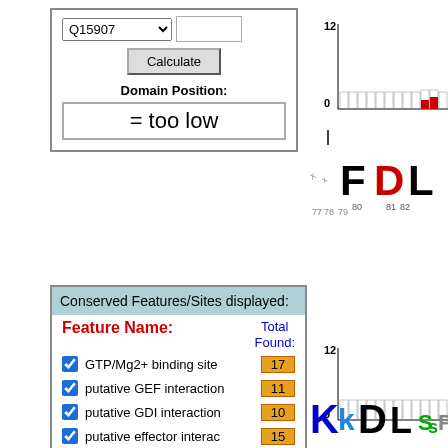[Figure (screenshot): Dropdown selector showing Q15907 with a Calculate button and Domain Position result showing '= too low']
[Figure (bar-chart): Bar chart with y-axis 0 to 12, showing mostly empty bars with two small red bars near positions 82-83]
Conserved Features/Sites displayed:
Feature Name: | Total Found:
GTP/Mg2+ binding site | 17
putative GEF interaction | 11
putative GDI interaction | 10
putative effector interac | 15
putative lipid modificati | 4
Switch I region | 10
Switch II region | 12
G1 box | 8
G2 box | 1
G3 box | 4
G4 box | 4
[Figure (other): Sequence logo showing FDL letters with position labels 77-84 on x-axis]
[Figure (bar-chart): Bar chart with y-axis 0 to 12, showing empty bars]
[Figure (other): Sequence logo showing KkDL SsPA letters with position labels 15-22 on x-axis]